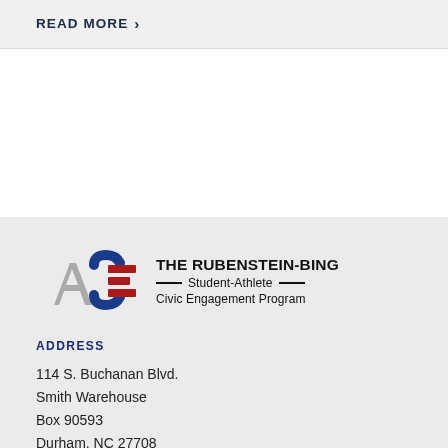READ MORE >
[Figure (logo): ACE - The Rubenstein-Bing Student-Athlete Civic Engagement Program logo]
ADDRESS
114 S. Buchanan Blvd.
Smith Warehouse
Box 90593
Durham, NC 27708